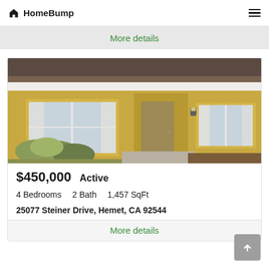HomeBump
More details
[Figure (photo): Exterior photo of a single-story yellow stucco house with brown roof, white-trimmed windows, front door with security screen, and landscaping with small shrubs]
$450,000   Active
4 Bedrooms   2 Bath   1,457 SqFt
25077 Steiner Drive, Hemet, CA 92544
More details